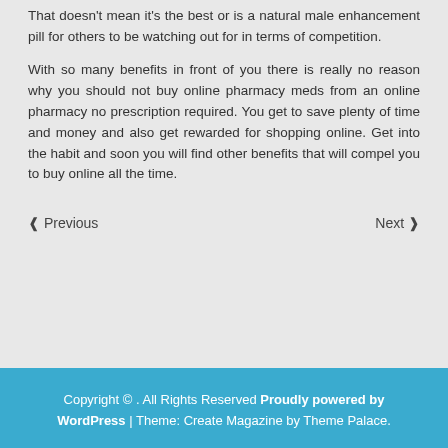That doesn't mean it's the best or is a natural male enhancement pill for others to be watching out for in terms of competition.
With so many benefits in front of you there is really no reason why you should not buy online pharmacy meds from an online pharmacy no prescription required. You get to save plenty of time and money and also get rewarded for shopping online. Get into the habit and soon you will find other benefits that will compel you to buy online all the time.
⟨ Previous    Next ⟩
Copyright © . All Rights Reserved Proudly powered by WordPress | Theme: Create Magazine by Theme Palace.